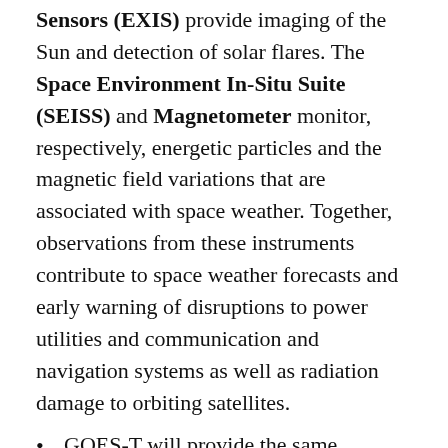Sensors (EXIS) provide imaging of the Sun and detection of solar flares. The Space Environment In-Situ Suite (SEISS) and Magnetometer monitor, respectively, energetic particles and the magnetic field variations that are associated with space weather. Together, observations from these instruments contribute to space weather forecasts and early warning of disruptions to power utilities and communication and navigation systems as well as radiation damage to orbiting satellites.
GOES-T will provide the same observations that GOES-R (GOES-16) and GOES-S (GOES-17) do, but with slight modifications to two of the instruments.